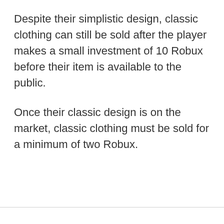Despite their simplistic design, classic clothing can still be sold after the player makes a small investment of 10 Robux before their item is available to the public.
Once their classic design is on the market, classic clothing must be sold for a minimum of two Robux.